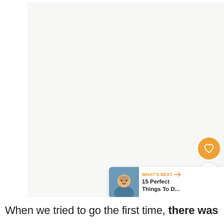[Figure (photo): Large photo placeholder area (light beige/off-white background, appears to be a travel/outdoor image mostly cropped out of frame)]
[Figure (infographic): Orange circular heart/like button with heart icon, count badge showing '2', and white circular share button with network share icon (connected dots)]
[Figure (infographic): What's Next card with circular thumbnail photo of a person, orange label 'WHAT'S NEXT →', and article title '15 Perfect Things To D...']
When we tried to go the first time, there was a